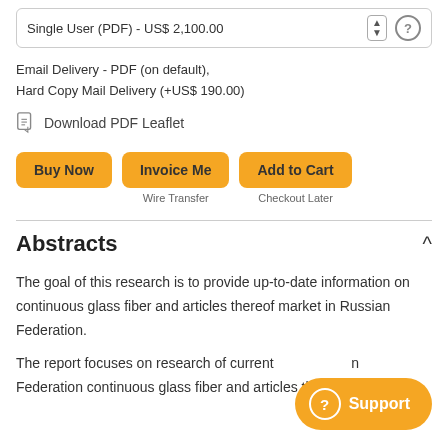Single User (PDF) - US$ 2,100.00
Email Delivery - PDF (on default),
Hard Copy Mail Delivery (+US$ 190.00)
Download PDF Leaflet
Buy Now
Invoice Me
Wire Transfer
Add to Cart
Checkout Later
Abstracts
The goal of this research is to provide up-to-date information on continuous glass fiber and articles thereof market in Russian Federation.
The report focuses on research of current ... Federation continuous glass fiber and articles thereof market
Support